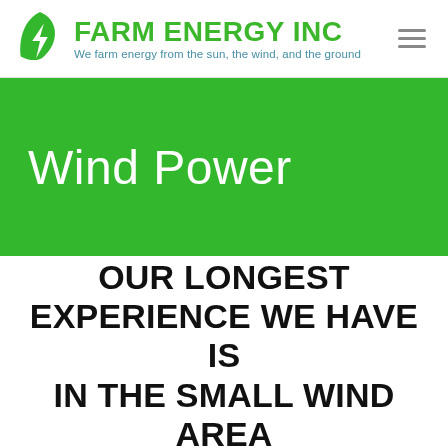FARM ENERGY INC — We farm energy from the sun, the wind, and the ground
Wind Power
OUR LONGEST EXPERIENCE WE HAVE IS IN THE SMALL WIND AREA